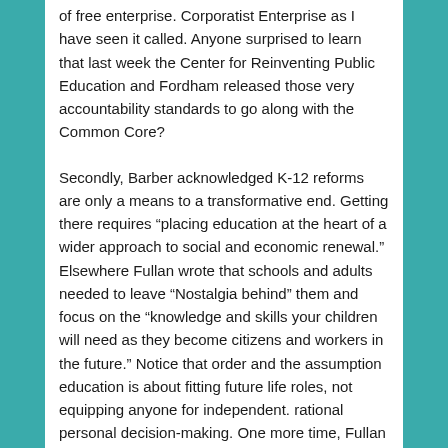of free enterprise. Corporatist Enterprise as I have seen it called. Anyone surprised to learn that last week the Center for Reinventing Public Education and Fordham released those very accountability standards to go along with the Common Core?
Secondly, Barber acknowledged K-12 reforms are only a means to a transformative end. Getting there requires “placing education at the heart of a wider approach to social and economic renewal.” Elsewhere Fullan wrote that schools and adults needed to leave “Nostalgia behind” them and focus on the “knowledge and skills your children will need as they become citizens and workers in the future.” Notice that order and the assumption education is about fitting future life roles, not equipping anyone for independent. rational personal decision-making. One more time, Fullan made it clear that this new type of learning that is about changing, prescribing, and then monitoring students’ thoughts and behaviors and ‘reculturing’ the schools to require just that was to “enable the present generation to adapt to this radically new and